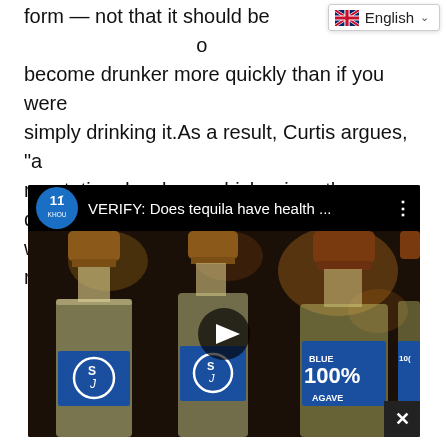form — not that it should be … o become drunker more quickly than if you were simply drinking it. As a result, Curtis argues, "a reputation develops, which raises the question of whether or not a prophesy becomes a reality."
[Figure (screenshot): Embedded video thumbnail from KHOU 11 news: 'VERIFY: Does tequila have health ...' showing tequila bottles with blue agave labels and cork tops, with a play button overlay and close (X) button.]